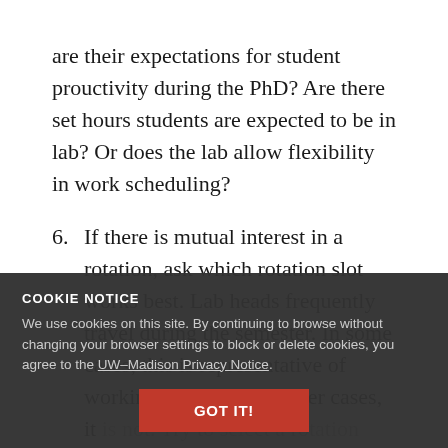are their expectations for student prouctivity during the PhD? Are there set hours students are expected to be in lab? Or does the lab allow flexibility in work scheduling?
6. If there is mutual interest in a rotation, ask which rotation slot works best. Lab heads frequently travel during the semester. In some cases, this is representative of working in the lab. In other cases, it [continues below overlay]
[cookie notice overlay obscures remaining text]